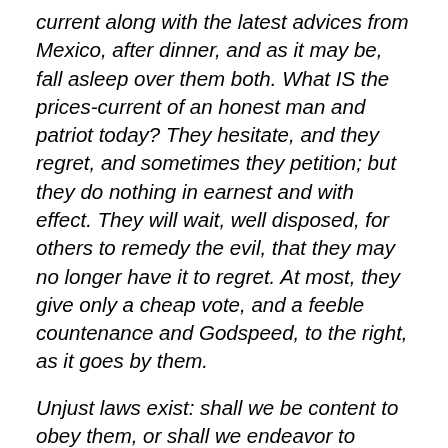current along with the latest advices from Mexico, after dinner, and as it may be, fall asleep over them both. What IS the prices-current of an honest man and patriot today? They hesitate, and they regret, and sometimes they petition; but they do nothing in earnest and with effect. They will wait, well disposed, for others to remedy the evil, that they may no longer have it to regret. At most, they give only a cheap vote, and a feeble countenance and Godspeed, to the right, as it goes by them.
Unjust laws exist: shall we be content to obey them, or shall we endeavor to amend them, and obey them until we have succeeded, or shall we transgress them at once? Men generally, under such a government as this, think that they ought to wait until they persuaded the majority to alter them. They think that, if they should resist, the remedy